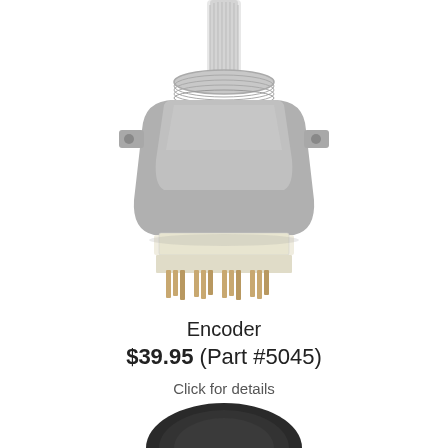[Figure (photo): Close-up photo of a rotary encoder component with threaded metal shaft, aluminum housing body, and multiple gold-colored pins on a cream-colored PCB connector base]
Encoder
$39.95 (Part #5045)
Click for details
[Figure (photo): Partial view of a dark circular encoder knob at bottom of page]